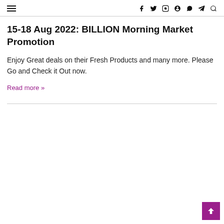≡  f  🐦  📷  𝐩  📞  ✈  🔍
15-18 Aug 2022: BILLION Morning Market Promotion
Enjoy Great deals on their Fresh Products and many more. Please Go and Check it Out now.
Read more »